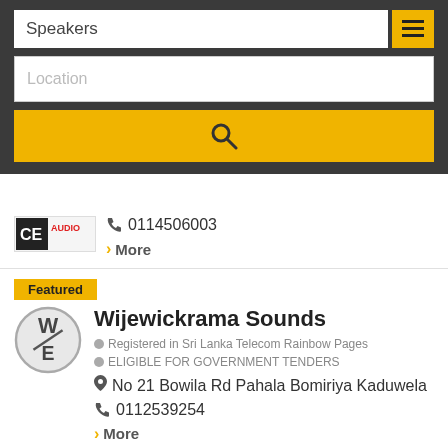Speakers
Location
0114506003
> More
Wijewickrama Sounds
Registered in Sri Lanka Telecom Rainbow Pages
ELIGIBLE FOR GOVERNMENT TENDERS
No 21 Bowila Rd Pahala Bomiriya Kaduwela
0112539254
> More
Sinco Trading (Pvt) Ltd
Registered in Sri Lanka Telecom Rainbow Pages